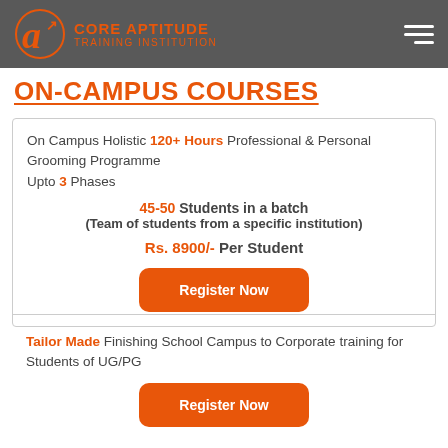[Figure (logo): Core Aptitude Training Institution logo with orange stylized A letter and text on dark grey header background]
ON-CAMPUS COURSES
On Campus Holistic 120+ Hours Professional & Personal Grooming Programme
Upto 3 Phases

45-50 Students in a batch
(Team of students from a specific institution)

Rs. 8900/- Per Student
Register Now
Tailor Made Finishing School Campus to Corporate training for Students of UG/PG
Register Now